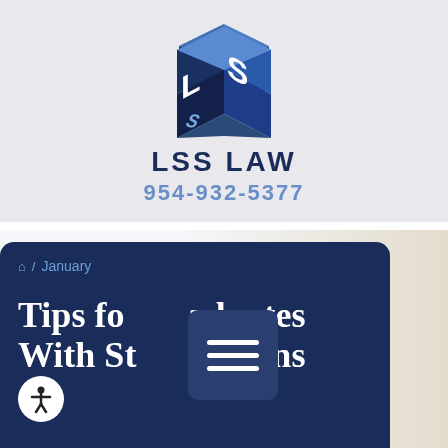[Figure (logo): LSS Law 3D cube logo with letters L and S in blue and white]
LSS LAW
954-932-5377
Home / January
Tips for Graduates With Student Loans